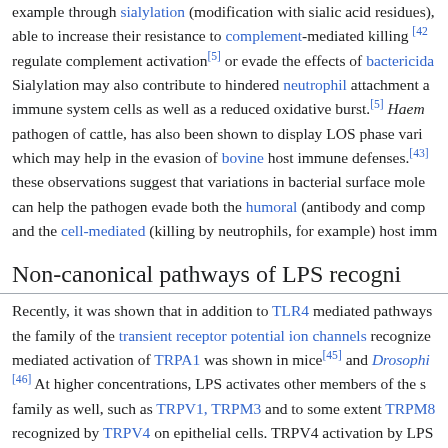example through sialylation (modification with sialic acid residues), able to increase their resistance to complement-mediated killing [42] regulate complement activation[5] or evade the effects of bactericida Sialylation may also contribute to hindered neutrophil attachment a immune system cells as well as a reduced oxidative burst.[5] Haem pathogen of cattle, has also been shown to display LOS phase vari which may help in the evasion of bovine host immune defenses.[43] these observations suggest that variations in bacterial surface mole can help the pathogen evade both the humoral (antibody and comp and the cell-mediated (killing by neutrophils, for example) host imm
Non-canonical pathways of LPS recogni
Recently, it was shown that in addition to TLR4 mediated pathways the family of the transient receptor potential ion channels recognize mediated activation of TRPA1 was shown in mice[45] and Drosophi [46] At higher concentrations, LPS activates other members of the s family as well, such as TRPV1, TRPM3 and to some extent TRPM8 recognized by TRPV4 on epithelial cells. TRPV4 activation by LPS sufficient to induce nitric oxide production with a bactericidal effect